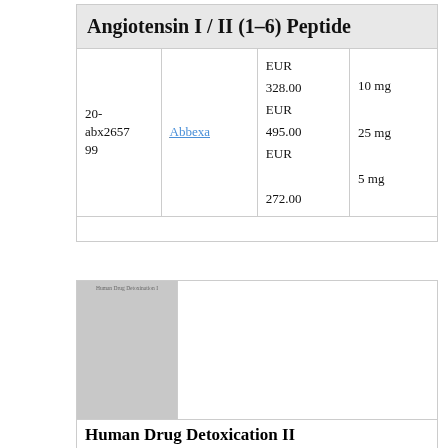| Product ID | Supplier | Price | Quantity |
| --- | --- | --- | --- |
| 20-abx265799 | Abbexa | EUR 328.00
EUR 495.00
EUR 272.00 | 10 mg
25 mg
5 mg |
| [image: Human Drug Detoxination II] |  | Human Drug Detoxication II |